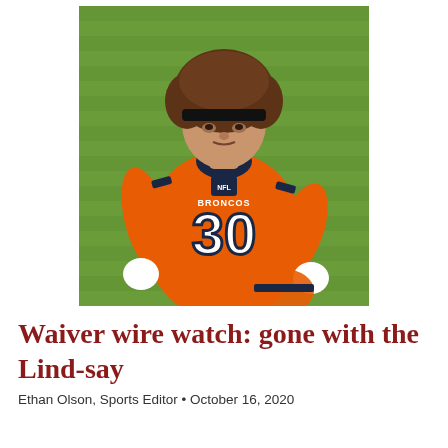[Figure (photo): A Denver Broncos football player wearing jersey number 30, with curly brown hair and a black headband, running on a grass field while holding a helmet. He is wearing the team's orange uniform.]
Waiver wire watch: gone with the Lind-say
Ethan Olson, Sports Editor • October 16, 2020